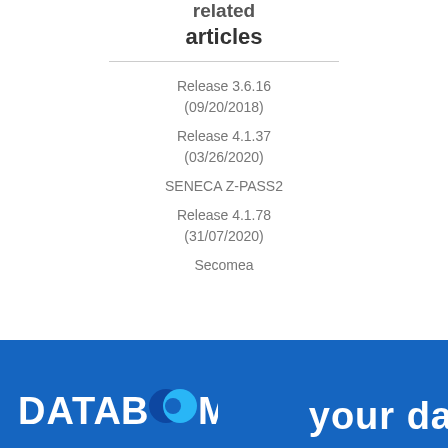articles
Release 3.6.16 (09/20/2018)
Release 4.1.37 (03/26/2020)
SENECA Z-PASS2
Release 4.1.78 (31/07/2020)
Secomea
[Figure (logo): DATABOOM logo with blue background and 'your da' text partially visible]